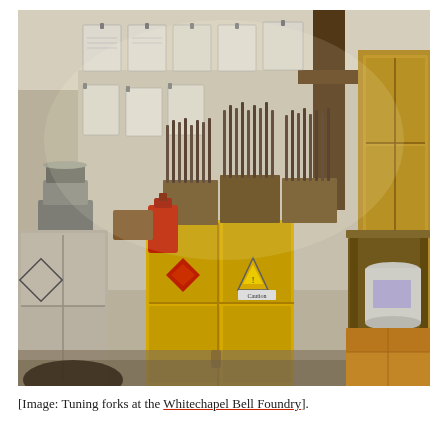[Figure (photo): Interior of the Whitechapel Bell Foundry workshop. A yellow hazardous materials cabinet with a red diamond flammable sign and a yellow warning triangle sign sits in the center. On top of the cabinet are numerous tuning forks arranged in rows in wooden holders. To the left is a white metal cabinet with a hazard diamond symbol and a weighing scale. Papers and documents are clipped to the wall in the background. To the right is a wooden shelf unit with a large white plastic bucket and various small metal objects. Cardboard boxes are on the floor at right. A wooden beam crosses the upper right. The walls are rough stone/plaster.]
[Image: Tuning forks at the Whitechapel Bell Foundry].